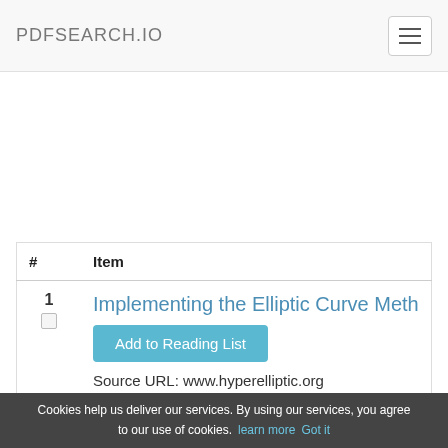PDFSEARCH.IO
| # | Item |
| --- | --- |
| 1 | Implementing the Elliptic Curve Meth
Add to Reading List
Source URL: www.hyperelliptic.org |
Cookies help us deliver our services. By using our services, you agree to our use of cookies. learn more Got it